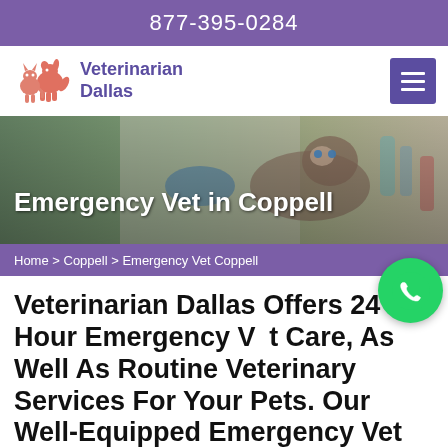877-395-0284
[Figure (logo): Veterinarian Dallas logo with dog and cat silhouette in salmon/orange color]
Emergency Vet in Coppell
[Figure (photo): Veterinarian examining a Siamese cat on an examination table]
Home > Coppell > Emergency Vet Coppell
Veterinarian Dallas Offers 24 Hour Emergency Vet Care, As Well As Routine Veterinary Services For Your Pets. Our Well-Equipped Emergency Vet Clinic Near